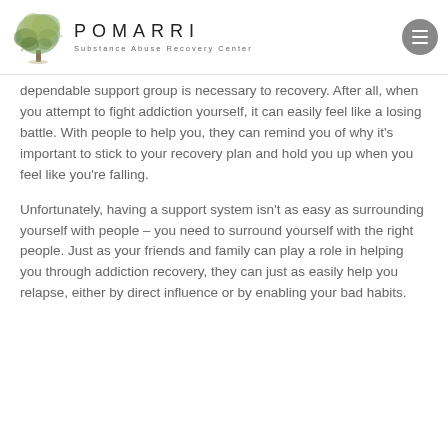[Figure (logo): Pomarri Substance Abuse Recovery Center logo with a tree illustration on the left and the text POMARRI / Substance Abuse Recovery Center on the right]
dependable support group is necessary to recovery. After all, when you attempt to fight addiction yourself, it can easily feel like a losing battle. With people to help you, they can remind you of why it's important to stick to your recovery plan and hold you up when you feel like you're falling.
Unfortunately, having a support system isn't as easy as surrounding yourself with people – you need to surround yourself with the right people. Just as your friends and family can play a role in helping you through addiction recovery, they can just as easily help you relapse, either by direct influence or by enabling your bad habits.